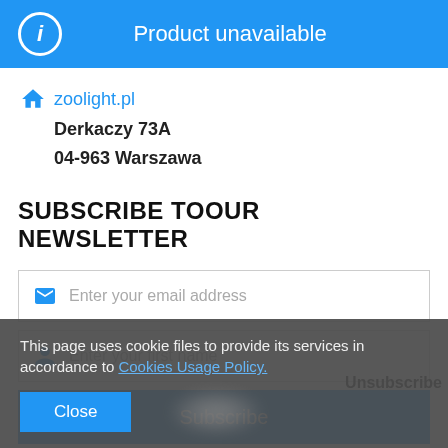Product unavailable
zoolight.pl
Derkaczy 73A
04-963 Warszawa
SUBSCRIBE TOOUR NEWSLETTER
Enter your email address
Enter your first name
Subscribe
Unsubscribe
This page uses cookie files to provide its services in accordance to Cookies Usage Policy.
Close